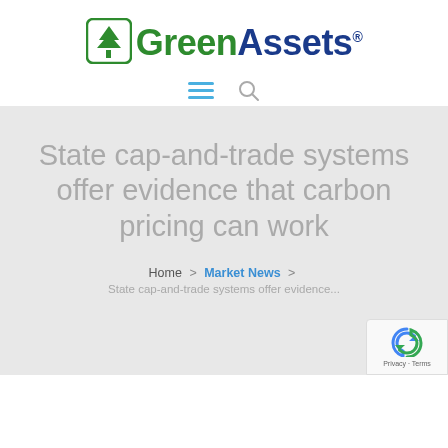[Figure (logo): GreenAssets logo with a green tree icon in a rounded square, 'Green' in green bold text and 'Assets' in dark blue bold text with a registered trademark symbol]
[Figure (infographic): Navigation icons: hamburger menu in blue and search icon in gray]
State cap-and-trade systems offer evidence that carbon pricing can work
Home > Market News > State cap-and-trade systems offer evidence...